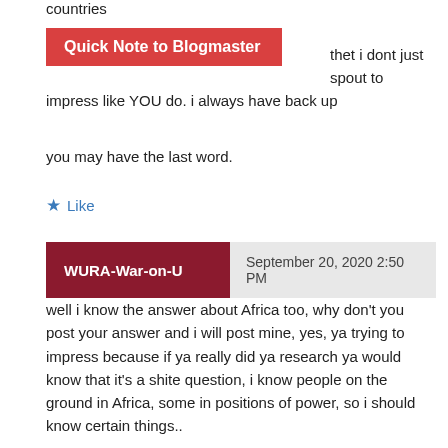countries
Quick Note to Blogmaster
thet i dont just spout to impress like YOU do. i always have back up
you may have the last word.
★ Like
WURA-War-on-U   September 20, 2020 2:50 PM
well i know the answer about Africa too, why don't you post your answer and i will post mine, yes, ya trying to impress because if ya really did ya research ya would know that it's a shite question, i know people on the ground in Africa, some in positions of power, so i should know certain things..